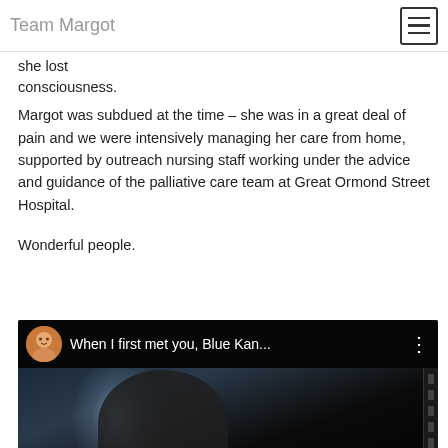Team Margot
she lost consciousness.
Margot was subdued at the time – she was in a great deal of pain and we were intensively managing her care from home, supported by outreach nursing staff working under the advice and guidance of the palliative care team at Great Ormond Street Hospital.
Wonderful people.
[Figure (screenshot): Video thumbnail showing a dark cinematic scene with a light flare and silhouette. Top bar shows a baby avatar and title 'When I first met you, Blue Kan...' with a three-dot menu icon.]